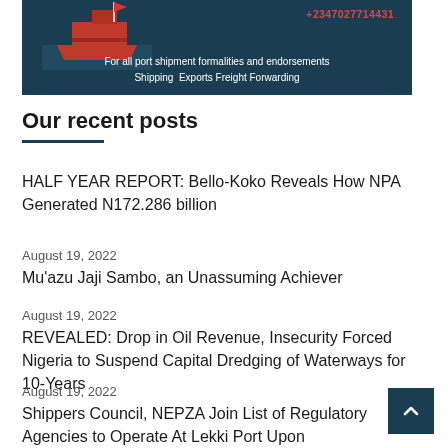[Figure (illustration): Advertisement banner for a shipping/freight forwarding company showing a red cargo ship on dark blue background with phone number +2347027714431 and text 'For all port shipment formalities and endorsements Shipping Exports Freight Forwarding']
Our recent posts
HALF YEAR REPORT: Bello-Koko Reveals How NPA Generated N172.286 billion
August 19, 2022
Mu'azu Jaji Sambo, an Unassuming Achiever
August 19, 2022
REVEALED: Drop in Oil Revenue, Insecurity Forced Nigeria to Suspend Capital Dredging of Waterways for 10-Years
August 19, 2022
Shippers Council, NEPZA Join List of Regulatory Agencies to Operate At Lekki Port Upon Completion